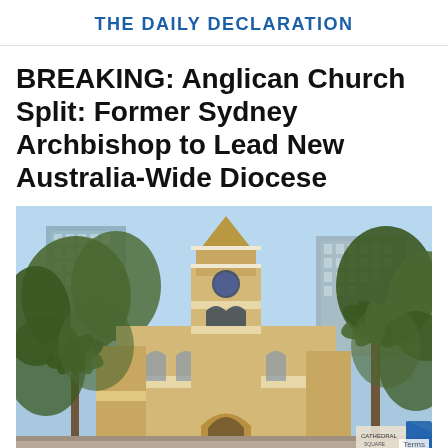THE DAILY DECLARATION
BREAKING: Anglican Church Split: Former Sydney Archbishop to Lead New Australia-Wide Diocese
[Figure (photo): A Gothic-style Anglican church with a cream/yellow facade and a clock tower, surrounded by trees including palm trees. Modern glass office buildings visible in the background. The photo is taken from a low angle looking up.]